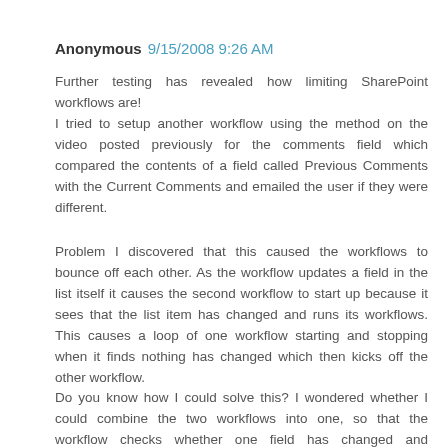Anonymous 9/15/2008 9:26 AM
Further testing has revealed how limiting SharePoint workflows are!
I tried to setup another workflow using the method on the video posted previously for the comments field which compared the contents of a field called Previous Comments with the Current Comments and emailed the user if they were different.
Problem I discovered that this caused the workflows to bounce off each other. As the workflow updates a field in the list itself it causes the second workflow to start up because it sees that the list item has changed and runs its workflows. This causes a loop of one workflow starting and stopping when it finds nothing has changed which then kicks off the other workflow.
Do you know how I could solve this? I wondered whether I could combine the two workflows into one, so that the workflow checks whether one field has changed and processes that to produce an email and then checks